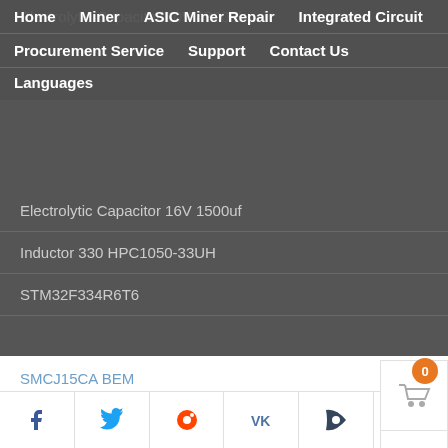Electrolytic Capacitor 10V 4700uf
Home | Miner | ASIC Miner Repair | Integrated Circuit | Procurement Service | Support | Contact Us | Languages
Electrolytic Capacitor 16V 1500uf
Inductor 330 HPC1050-33UH
STM32F334R6T6
SMCJ15CA BEM
Inductor 101 HPC1050-100UH
C3D08060
10R (0603)
CAPACITOR 10UF 25V
CT75MMR
Facebook | Twitter | Reddit | VK | Tumblr | WhatsApp